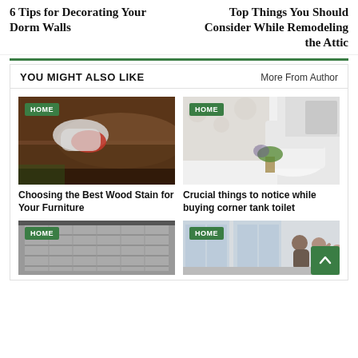6 Tips for Decorating Your Dorm Walls
Top Things You Should Consider While Remodeling the Attic
YOU MIGHT ALSO LIKE
More From Author
[Figure (photo): Person wiping wood surface with red cloth, wearing white glove. HOME badge overlay.]
Choosing the Best Wood Stain for Your Furniture
[Figure (photo): Bathroom with white toilet, floral curtain and green plant. HOME badge overlay.]
Crucial things to notice while buying corner tank toilet
[Figure (photo): Garage or storage with vertical lines/doors. HOME badge overlay.]
[Figure (photo): People in a room with large windows. HOME badge overlay.]